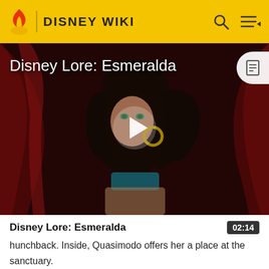DISNEY WIKI
[Figure (screenshot): Disney animated character Esmeralda from The Hunchback of Notre Dame, with dark wavy hair, green eyes, and gold hoop earrings, against a dark red background. A white play button triangle is overlaid in the center. Title text 'Disney Lore: Esmeralda' appears in white at top left.]
Disney Lore: Esmeralda
hunchback. Inside, Quasimodo offers her a place at the sanctuary.
However, Esmeralda declined as she didn't want to be